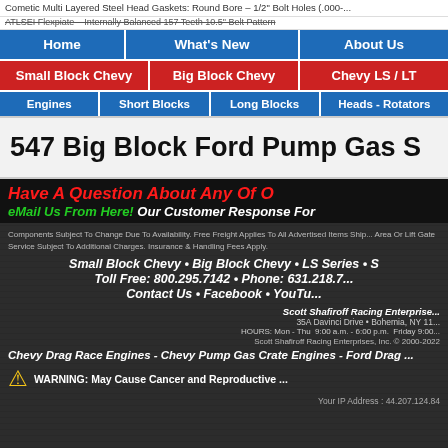Cometic Multi Layered Steel Head Gaskets: Round Bore - 1/2" Bolt Holes (.000-...
ATLSEI Flexpiate - Internally Balanced 157 Teeth 10.5" Bolt Pattern
Home | What's New | About Us
Small Block Chevy | Big Block Chevy | Chevy LS / LT
Engines | Short Blocks | Long Blocks | Heads - Rotators
547 Big Block Ford Pump Gas S
Have A Question About Any Of O
eMail Us From Here! Our Customer Response For
Components Subject To Change Due To Availability. Free Freight Applies To All Advertised Items Ship... Area Or Lift Gate Service Subject To Additional Charges. Insurance & Handling Fees Apply.
Small Block Chevy • Big Block Chevy • LS Series • S
Toll Free: 800.295.7142 • Phone: 631.218.7...
Contact Us • Facebook • YouTu...
Scott Shafiroff Racing Enterprise...
35A Davinci Drive • Bohemia, NY 11...
HOURS: Mon - Thu 9:00 a.m. - 6:00 p.m. Friday 9:00...
Scott Shafiroff Racing Enterprises, Inc. © 2000-2022
Chevy Drag Race Engines - Chevy Pump Gas Crate Engines - Ford Drag ...
WARNING: May Cause Cancer and Reproductive ...
Your IP Address : 44.207.124.84